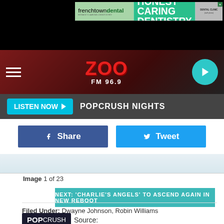[Figure (screenshot): Advertisement banner for Frenchtown Dental with green background, text HONEST CARING DENTISTRY and photo of dental staff]
[Figure (logo): ZOO FM 96.9 radio station logo in red on dark red background with hamburger menu and teal play button]
LISTEN NOW ▶   POPCRUSH NIGHTS
Share  Tweet
[Figure (photo): Partial image strip, light blue/grey background]
Image 1 of 23
NEXT: 'CHARLIE'S ANGELS' TO ASCEND AGAIN IN NEW REBOOT
Source: Dwayne 'The Rock' Johnson + Kevin Hart in Talks for 'Jumanji' Reboot
Filed Under: Dwayne Johnson, Robin Williams